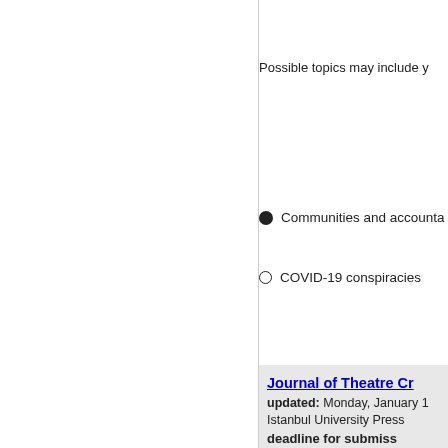Possible topics may include y
Communities and accounta
COVID-19 conspiracies
Journal of Theatre Cr
updated: Monday, January 1
Istanbul University Press
deadline for submiss
Submissions invited for Is.